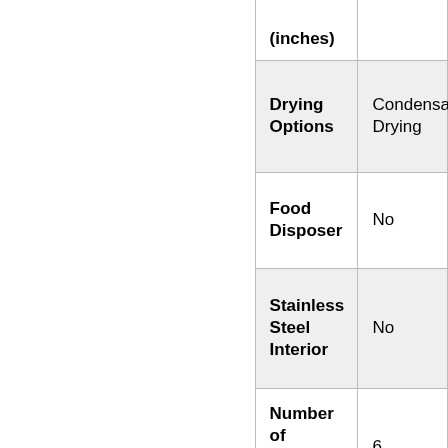| (inches) |  |
| Drying Options | Condensation Drying |
| Food Disposer | No |
| Stainless Steel Interior | No |
| Number of Wash Cycle | 6 |